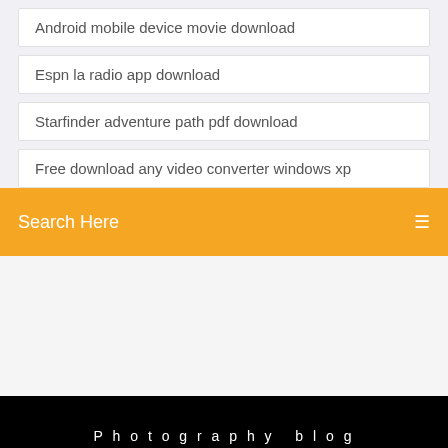Android mobile device movie download
Espn la radio app download
Starfinder adventure path pdf download
Free download any video converter windows xp
Search Here
Photography blog